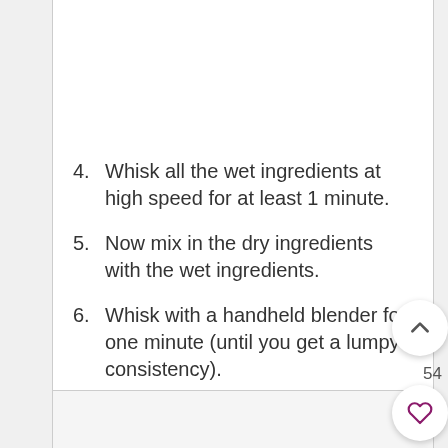4. Whisk all the wet ingredients at high speed for at least 1 minute.
5. Now mix in the dry ingredients with the wet ingredients.
6. Whisk with a handheld blender for one minute (until you get a lumpy consistency).
7. Add the chopped cranberries (room temperature) and fold it into the mixture.